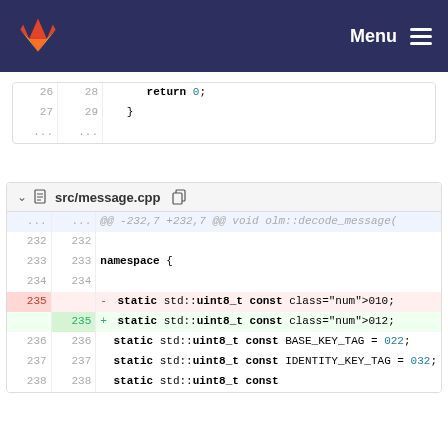Menu
[Figure (screenshot): GitLab code diff view showing src/message.cpp with line changes around line 235, changing ONE_TIME_KEY_ID_TAG from 010 to 012]
src/message.cpp
@@ -232,7 +232,7 @@ void olm::decode_message(
232  232
233  233  namespace {
234  234
235       - static std::uint8_t const ONE_TIME_KEY_ID_TAG = 010;
     235  + static std::uint8_t const ONE_TIME_KEY_ID_TAG = 012;
236  236    static std::uint8_t const BASE_KEY_TAG = 022;
237  237    static std::uint8_t const IDENTITY_KEY_TAG = 032;
238  238    static std::uint8_t const